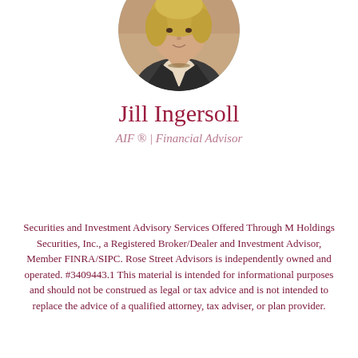[Figure (photo): Circular portrait photo of Jill Ingersoll, a woman with blonde hair wearing a dark blazer, shown from the shoulders up against a blurred background.]
Jill Ingersoll
AIF ® | Financial Advisor
Securities and Investment Advisory Services Offered Through M Holdings Securities, Inc., a Registered Broker/Dealer and Investment Advisor, Member FINRA/SIPC. Rose Street Advisors is independently owned and operated. #3409443.1 This material is intended for informational purposes and should not be construed as legal or tax advice and is not intended to replace the advice of a qualified attorney, tax adviser, or plan provider.